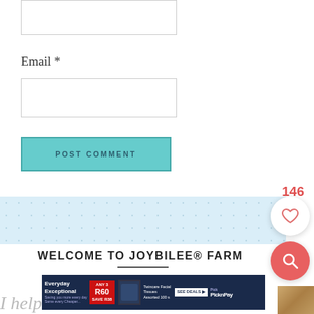[Figure (screenshot): Top portion of a web form input box (text field, partially visible at top of page)]
Email *
[Figure (screenshot): Email text input field (empty, with border)]
[Figure (screenshot): POST COMMENT button in teal/turquoise color with dark teal uppercase text]
146
[Figure (screenshot): Heart (favorite/like) icon button in white circle]
[Figure (screenshot): Search icon button in coral/red circle]
[Figure (screenshot): Decorative dotted banner background strip]
WELCOME TO JOYBILEE® FARM
[Figure (screenshot): Pick n Pay advertisement banner: Everyday Exceptional, ANY 3 R60 SAVE R38, Twincare Facial Tissues Assorted 100s, SEE DEALS, Pick n Pay logo]
I help